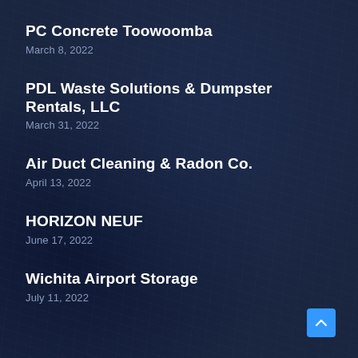PC Concrete Toowoomba
March 8, 2022
PDL Waste Solutions & Dumpster Rentals, LLC
March 31, 2022
Air Duct Cleaning & Radon Co.
April 13, 2022
HORIZON NEUF
June 17, 2022
Wichita Airport Storage
July 11, 2022